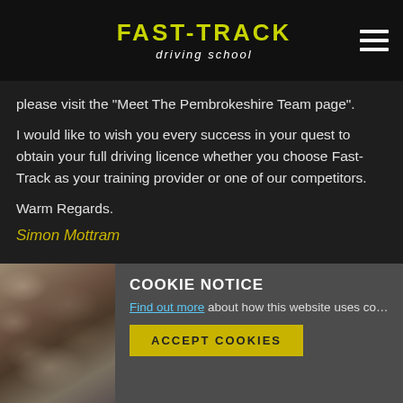[Figure (logo): Fast-Track driving school logo with yellow stylized text on dark background, hamburger menu icon top right]
please visit the “Meet The Pembrokeshire Team page”.
I would like to wish you every success in your quest to obtain your full driving licence whether you choose Fast-Track as your training provider or one of our competitors.
Warm Regards.
Simon Mottram
COOKIE NOTICE
Find out more about how this website uses co…
ACCEPT COOKIES